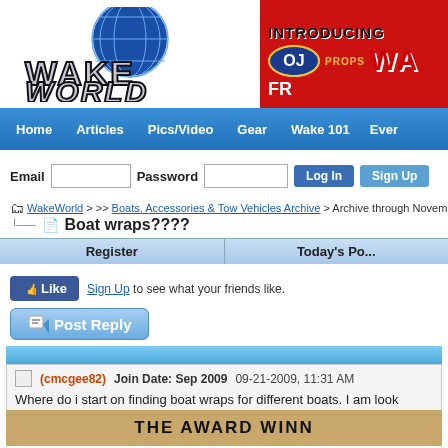[Figure (logo): WakeWorld logo with globe graphic, stylized metallic text]
[Figure (screenshot): OJ Props advertisement banner - red background with 'INTRODUCING WA... FR...' text]
Home | Articles | Pics/Video | Gear | Wake 101 | Ever...
Email [input] Password [input] Log In Sign Up
WakeWorld > >> Boats, Accessories & Tow Vehicles Archive > Archive through November
Boat wraps????
Register | Today's Po...
Like Sign Up to see what your friends like.
Post Reply
(cmcgee82)   Join Date: Sep 2009   09-21-2009, 11:31 AM
Where do i start on finding boat wraps for different boats. I am look...
[Figure (screenshot): Bottom advertisement banner - tan/gold background with 'THE AWARD WINN...' text]